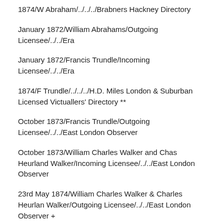1874/W Abraham/../../../Brabners Hackney Directory
January 1872/William Abrahams/Outgoing Licensee/../../Era
January 1872/Francis Trundle/Incoming Licensee/../../Era
1874/F Trundle/../../../H.D. Miles London & Suburban Licensed Victuallers' Directory **
October 1873/Francis Trundle/Outgoing Licensee/../../East London Observer
October 1873/William Charles Walker and Chas Heurland Walker/Incoming Licensee/../../East London Observer
23rd May 1874/William Charles Walker & Charles Heurlan Walker/Outgoing Licensee/../../East London Observer +